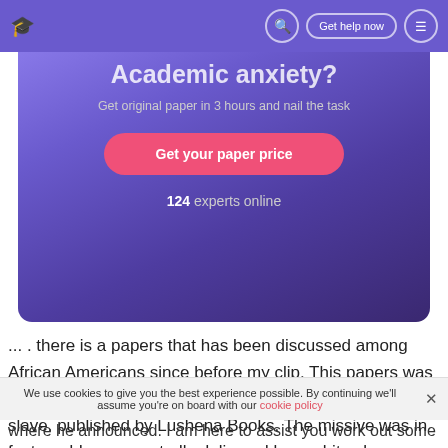🎓  🔍  Get help now  ☰
[Figure (infographic): Purple gradient banner with partial title 'Academic anxiety?', subtitle 'Get original paper in 3 hours and nail the task', a pink CTA button 'Get your paper price', and '124 experts online' text]
... . there is a papers that has been discussed among African Americans since before my clip. This papers was entitled the Willie Lynch Letter and the devising of a slave. published by Lushena Books. The missive was in fact a address reportedly delivered by a white slave proprietor from the West Indies.
We use cookies to give you the best experience possible. By continuing we'll assume you're on board with our cookie policy
where he announced. I am here to assist you work out some